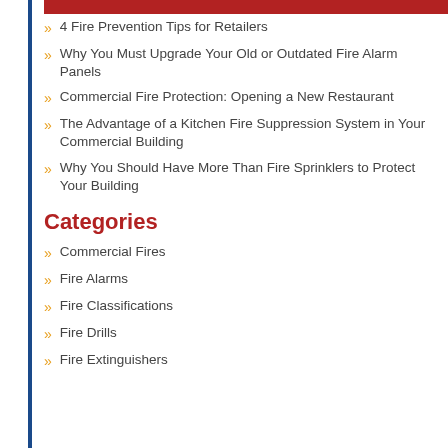4 Fire Prevention Tips for Retailers
Why You Must Upgrade Your Old or Outdated Fire Alarm Panels
Commercial Fire Protection: Opening a New Restaurant
The Advantage of a Kitchen Fire Suppression System in Your Commercial Building
Why You Should Have More Than Fire Sprinklers to Protect Your Building
Categories
Commercial Fires
Fire Alarms
Fire Classifications
Fire Drills
Fire Extinguishers